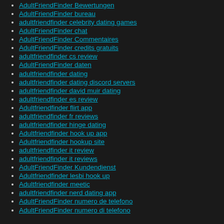AdultFriendFinder Bewertungen
AdultFriendFinder bureau
adultfriendfinder celebrity dating games
AdultFriendFinder chat
AdultFriendFinder Commentaires
AdultFriendFinder credits gratuits
adultfriendfinder cs review
AdultFriendFinder daten
adultfriendfinder dating
adultfriendfinder dating discord servers
adultfriendfinder david muir dating
adultfriendfinder es review
Adultfriendfinder flirt app
adultfriendfinder fr reviews
adultfriendfinder hinge dating
Adultfriendfinder hook up app
Adultfriendfinder hookup site
adultfriendfinder it review
adultfriendfinder it reviews
AdultFriendFinder Kundendienst
Adultfriendfinder lesbi hook up
Adultfriendfinder meetic
adultfriendfinder nerd dating app
AdultFriendFinder numero de telefono
AdultFriendFinder numero di telefono